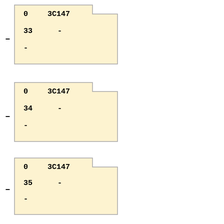[Figure (schematic): Card block 33: shows '0  3C147' on top row, '33  -' on second row, '-' on third row, with stepped background shape and dash connector on left]
[Figure (schematic): Card block 34: shows '0  3C147' on top row, '34  -' on second row, '-' on third row, with stepped background shape and dash connector on left]
[Figure (schematic): Card block 35: shows '0  3C147' on top row, '35  -' on second row, '-' on third row, with stepped background shape and dash connector on left]
[Figure (schematic): Card block 36: shows '0  3C147' on top row, '36  -' on second row, '-' on third row, with stepped background shape and dash connector on left]
[Figure (schematic): Card block 37: shows '0  3C147' on top row, '37  -' on second row, '-' on third row, with stepped background shape and dash connector on left]
[Figure (schematic): Card block 38: shows '0  3C147' on top row, '38  -' on second row, '-' on third row, with stepped background shape and dash connector on left]